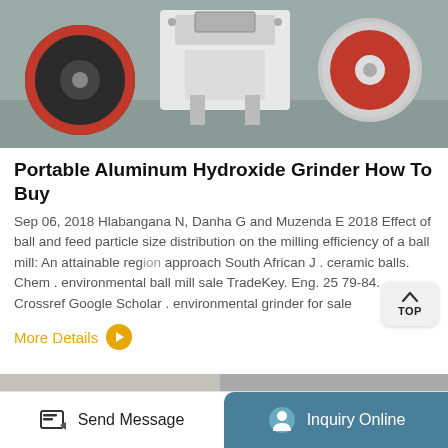[Figure (photo): Photo of a portable grinder/crusher machine, white frame with red and black wheels, industrial equipment on a concrete floor]
Portable Aluminum Hydroxide Grinder How To Buy
Sep 06, 2018 Hlabangana N, Danha G and Muzenda E 2018 Effect of ball and feed particle size distribution on the milling efficiency of a ball mill: An attainable region approach South African J . ceramic balls. Chem . environmental ball mill sale TradeKey. Eng. 25 79-84. Crossref Google Scholar . environmental grinder for sale
More Details
[Figure (photo): Partial photo of industrial equipment, bottom strip only visible]
Send Message
Inquiry Online